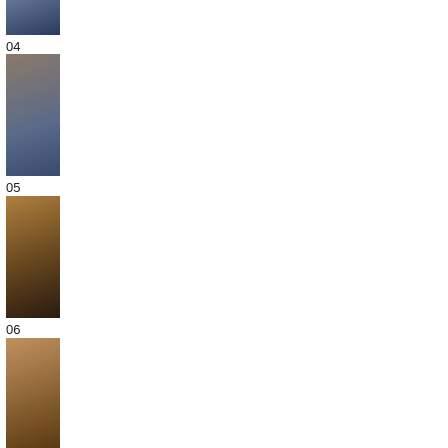[Figure (photo): Partially visible thumbnail photo at top of page, cropped]
04
[Figure (photo): Thumbnail photo 04 - figure with warm lighting]
05
[Figure (photo): Thumbnail photo 05 - person with arms raised outdoors]
06
[Figure (photo): Thumbnail photo 06 - mostly black/dark image]
07
[Figure (photo): Thumbnail photo 07 - child with flowers]
08
[Figure (photo): Thumbnail photo 08 - bare tree in desert landscape]
09
[Figure (photo): Partially visible thumbnail photo 09 at bottom]